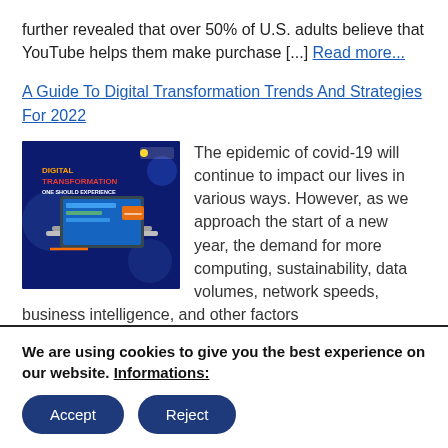further revealed that over 50% of U.S. adults believe that YouTube helps them make purchase [...] Read more...
A Guide To Digital Transformation Trends And Strategies For 2022
[Figure (illustration): Digital Transformation themed graphic with dark blue/purple background showing a laptop with digital elements and the text 'DIGITAL TRANSFORMATION ONE SHOULD EXPERIENCE']
The epidemic of covid-19 will continue to impact our lives in various ways. However, as we approach the start of a new year, the demand for more computing, sustainability, data volumes, network speeds, business intelligence, and other factors will...
We are using cookies to give you the best experience on our website. Informations: